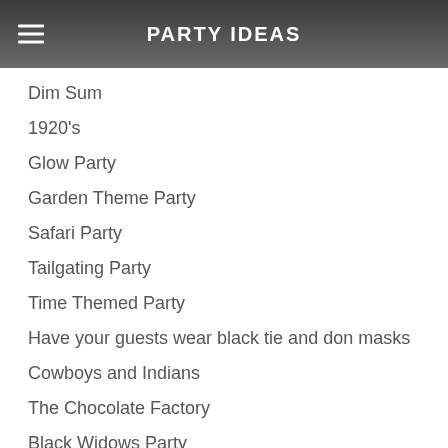PARTY IDEAS
Dim Sum
1920's
Glow Party
Garden Theme Party
Safari Party
Tailgating Party
Time Themed Party
Have your guests wear black tie and don masks
Cowboys and Indians
The Chocolate Factory
Black Widows Party